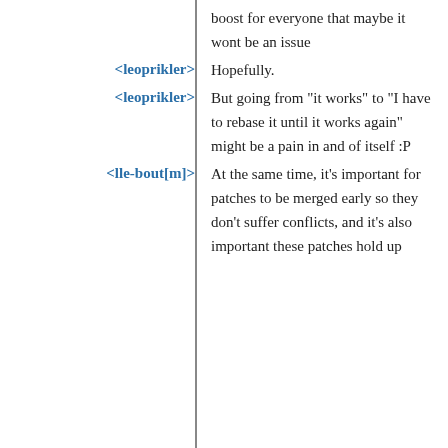boost for everyone that maybe it wont be an issue
<leoprikler> Hopefully.
<leoprikler> But going from "it works" to "I have to rebase it until it works again" might be a pain in and of itself :P
<lle-bout[m]> At the same time, it's important for patches to be merged early so they don't suffer conflicts, and it's also important these patches hold up